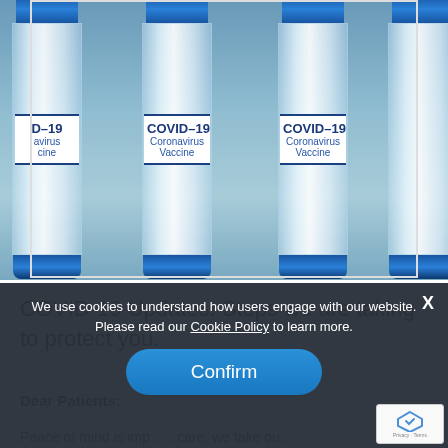[Figure (photo): Multiple COVID-19 Coronavirus Vaccine vials with blue caps arranged side by side, showing white labels with 'COVID-19 Coronavirus Vaccine' printed in dark blue text]
COVID-19 Updates. Steps we are taking to protect you.
We use cookies to understand how users engage with our website. Please read our Cookie Policy to learn more.
Confirm
Dear Patients:
Peace of mind is imp... ...care, we take ou... ...sibility as partners in...